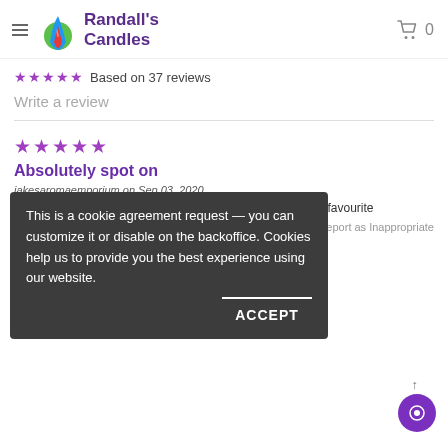Randall's Candles – navigation header with logo, hamburger menu, and cart (0 items)
★★★★★ Based on 37 reviews
Write a review
★★★★★
Absolutely spot on
jakesaromaemporium on Sep 03, 2020
Absolutely spot on to the well known fragrance, a personal favourite
Report as Inappropriate
This is a cookie agreement request — you can customize it or disable on the backoffice. Cookies help us to provide you the best experience using our website.
ACCEPT
★★★★★